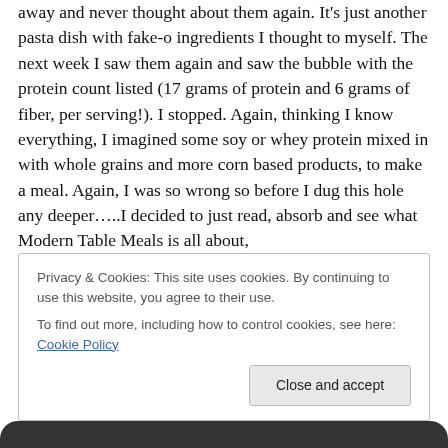away and never thought about them again. It's just another pasta dish with fake-o ingredients I thought to myself. The next week I saw them again and saw the bubble with the protein count listed (17 grams of protein and 6 grams of fiber, per serving!). I stopped. Again, thinking I know everything, I imagined some soy or whey protein mixed in with whole grains and more corn based products, to make a meal. Again, I was so wrong so before I dug this hole any deeper…..I decided to just read, absorb and see what Modern Table Meals is all about,
My parcel arrives with 4 beautiful bags, a bag to store
Privacy & Cookies: This site uses cookies. By continuing to use this website, you agree to their use.
To find out more, including how to control cookies, see here: Cookie Policy